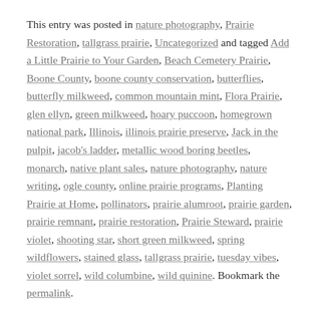This entry was posted in nature photography, Prairie Restoration, tallgrass prairie, Uncategorized and tagged Add a Little Prairie to Your Garden, Beach Cemetery Prairie, Boone County, boone county conservation, butterflies, butterfly milkweed, common mountain mint, Flora Prairie, glen ellyn, green milkweed, hoary puccoon, homegrown national park, Illinois, illinois prairie preserve, Jack in the pulpit, jacob's ladder, metallic wood boring beetles, monarch, native plant sales, nature photography, nature writing, ogle county, online prairie programs, Planting Prairie at Home, pollinators, prairie alumroot, prairie garden, prairie remnant, prairie restoration, Prairie Steward, prairie violet, shooting star, short green milkweed, spring wildflowers, stained glass, tallgrass prairie, tuesday vibes, violet sorrel, wild columbine, wild quinine. Bookmark the permalink.
11 RESPONSES TO “PLANT SALES AND